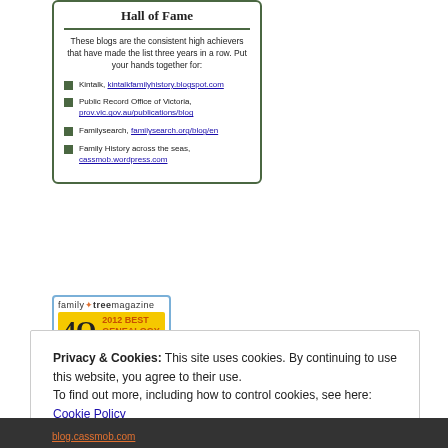Hall of Fame
These blogs are the consistent high achievers that have made the list three years in a row. Put your hands together for:
Kintalk, kintalkfamilyhistory.blogspot.com
Public Record Office of Victoria, prov.vic.gov.au/publications/blog
Familysearch, familysearch.org/blog/en
Family History across the seas, cassmob.wordpress.com
[Figure (logo): Family Tree Magazine 2012 Best Genealogy Blogs badge with yellow background and '40' in large text]
Privacy & Cookies: This site uses cookies. By continuing to use this website, you agree to their use.
To find out more, including how to control cookies, see here: Cookie Policy
Close and accept